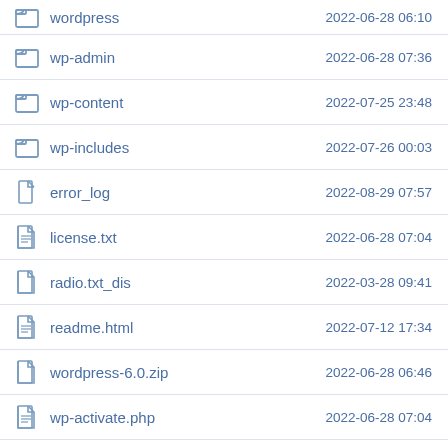| Name | Date |
| --- | --- |
| wordpress | 2022-06-28 06:10 |
| wp-admin | 2022-06-28 07:36 |
| wp-content | 2022-07-25 23:48 |
| wp-includes | 2022-07-26 00:03 |
| error_log | 2022-08-29 07:57 |
| license.txt | 2022-06-28 07:04 |
| radio.txt_dis | 2022-03-28 09:41 |
| readme.html | 2022-07-12 17:34 |
| wordpress-6.0.zip | 2022-06-28 06:46 |
| wp-activate.php | 2022-06-28 07:04 |
| wp-blog-header.php | 2022-06-28 07:04 |
| wp-comments-post.php | 2022-06-28 07:04 |
| wp-config-sample.php | 2022-06-28 07:04 |